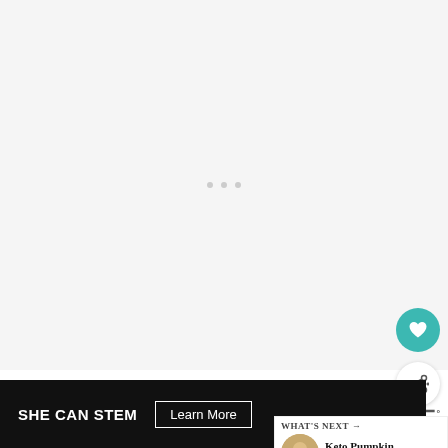[Figure (other): Large light gray advertisement placeholder area with three small gray dots centered]
[Figure (other): Circular teal heart/favorite button icon]
[Figure (other): Circular white share/send button icon with share symbol]
14. Add cream and xanthum gum continuously as the mixture comes to a b
[Figure (other): What's Next panel showing thumbnail and text 'Keto Pumpkin Pie...']
[Figure (other): Bottom dark advertisement banner with SHE CAN STEM text and Learn More button]